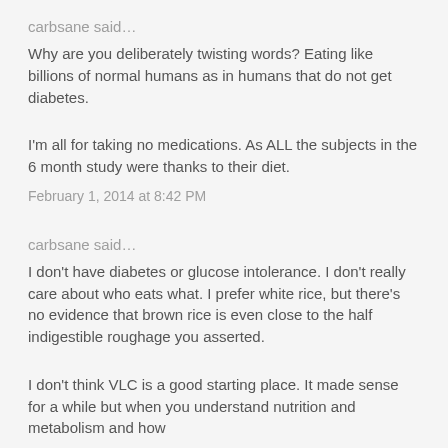carbsane said…
Why are you deliberately twisting words? Eating like billions of normal humans as in humans that do not get diabetes.
I'm all for taking no medications. As ALL the subjects in the 6 month study were thanks to their diet.
February 1, 2014 at 8:42 PM
carbsane said…
I don't have diabetes or glucose intolerance. I don't really care about who eats what. I prefer white rice, but there's no evidence that brown rice is even close to the half indigestible roughage you asserted.
I don't think VLC is a good starting place. It made sense for a while but when you understand nutrition and metabolism and how